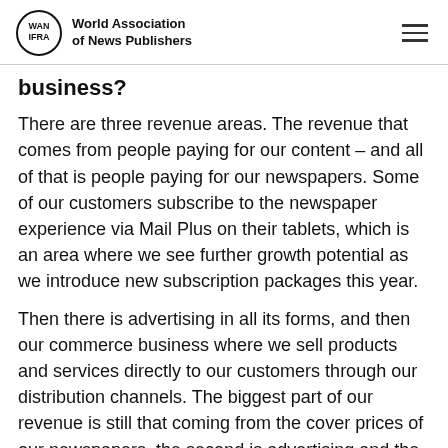World Association of News Publishers
business?
There are three revenue areas. The revenue that comes from people paying for our content – and all of that is people paying for our newspapers. Some of our customers subscribe to the newspaper experience via Mail Plus on their tablets, which is an area where we see further growth potential as we introduce new subscription packages this year.
Then there is advertising in all its forms, and then our commerce business where we sell products and services directly to our customers through our distribution channels. The biggest part of our revenue is still that coming from the cover prices of our newspapers, the second is advertising and the third is…